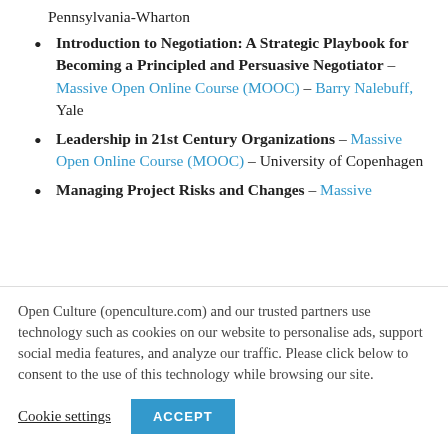Pennsylvania-Wharton
Introduction to Negotiation: A Strategic Playbook for Becoming a Principled and Persuasive Negotiator – Massive Open Online Course (MOOC) – Barry Nalebuff, Yale
Leadership in 21st Century Organizations – Massive Open Online Course (MOOC) – University of Copenhagen
Managing Project Risks and Changes – Massive
Open Culture (openculture.com) and our trusted partners use technology such as cookies on our website to personalise ads, support social media features, and analyze our traffic. Please click below to consent to the use of this technology while browsing our site.
Cookie settings  ACCEPT